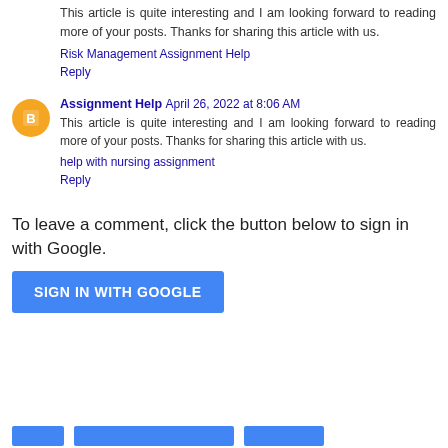This article is quite interesting and I am looking forward to reading more of your posts. Thanks for sharing this article with us.
Risk Management Assignment Help
Reply
Assignment Help  April 26, 2022 at 8:06 AM
This article is quite interesting and I am looking forward to reading more of your posts. Thanks for sharing this article with us.
help with nursing assignment
Reply
To leave a comment, click the button below to sign in with Google.
SIGN IN WITH GOOGLE